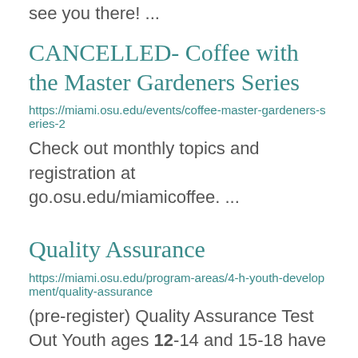see you there! ...
CANCELLED- Coffee with the Master Gardeners Series
https://miami.osu.edu/events/coffee-master-gardeners-series-2
Check out monthly topics and registration at go.osu.edu/miamicoffee. ...
Quality Assurance
https://miami.osu.edu/program-areas/4-h-youth-development/quality-assurance
(pre-register) Quality Assurance Test Out Youth ages 12-14 and 15-18 have the option to test out of Quality ... Assurance. Youth ages 12-14 who pass the QA test